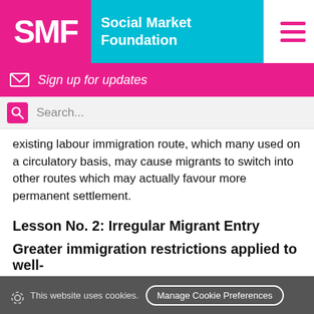SMF Social Market Foundation
Sign up for updates
Search...
existing labour immigration route, which many used on a circulatory basis, may cause migrants to switch into other routes which may actually favour more permanent settlement.
Lesson No. 2: Irregular Migrant Entry
Greater immigration restrictions applied to well-
This website uses cookies. Manage Cookie Preferences